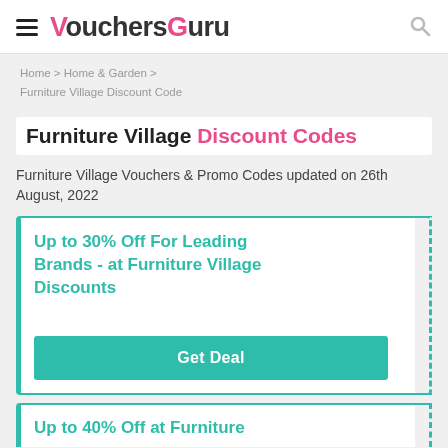VouchersGuru
Home > Home & Garden > Furniture Village Discount Code
Furniture Village Discount Codes
Furniture Village Vouchers & Promo Codes updated on 26th August, 2022
Up to 30% Off For Leading Brands - at Furniture Village Discounts
Get Deal
Up to 40% Off at Furniture